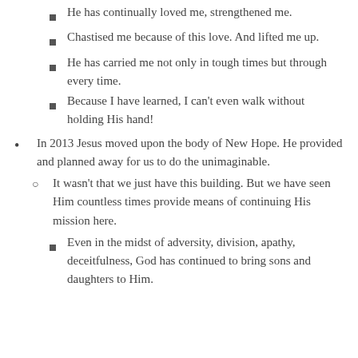He has continually loved me, strengthened me.
Chastised me because of this love. And lifted me up.
He has carried me not only in tough times but through every time.
Because I have learned, I can't even walk without holding His hand!
In 2013 Jesus moved upon the body of New Hope. He provided and planned away for us to do the unimaginable.
It wasn't that we just have this building. But we have seen Him countless times provide means of continuing His mission here.
Even in the midst of adversity, division, apathy, deceitfulness, God has continued to bring sons and daughters to Him.